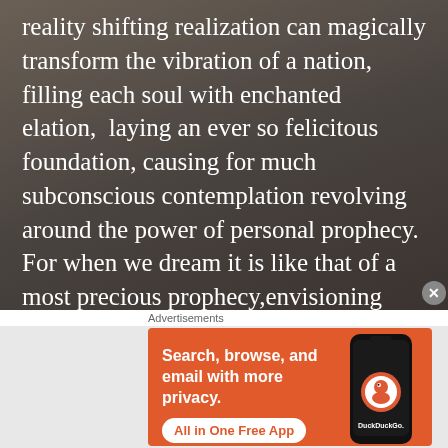reality shifting realization can magically transform the vibration of a nation, filling each soul with enchanted elation,  laying an ever so felicitous foundation, causing for much subconscious contemplation revolving around the power of personal prophecy. For when we dream it is like that of a most precious prophecy,envisioning your dreams as that which has already magically,manifested, in hindsight, foreseen. As you formulate how you shall make these dreams a revelatory reality, there is no greater form of power to me. So I
[Figure (other): DuckDuckGo advertisement banner showing 'Search, browse, and email with more privacy. All in One Free App' with a phone graphic and DuckDuckGo logo on orange background]